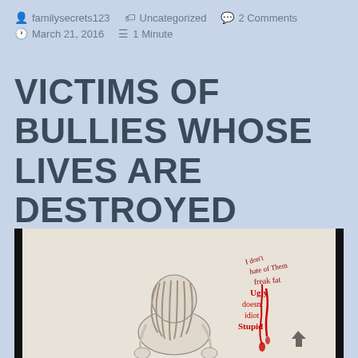familysecrets123  Uncategorized  2 Comments  March 21, 2016  1 Minute
VICTIMS OF BULLIES WHOSE LIVES ARE DESTROYED
[Figure (illustration): A pencil drawing of a person hunched over with hair covering their face, surrounded by red dripping text with negative/bullying words written on what appears to be skin or a wall]